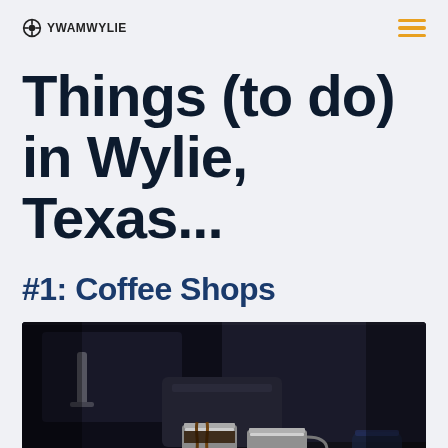YWAMWYLIE
Things (to do) in Wylie, Texas...
#1: Coffee Shops
[Figure (photo): Close-up photo of an espresso machine brewing coffee into two small stainless steel cups/pitchers, dark moody background]